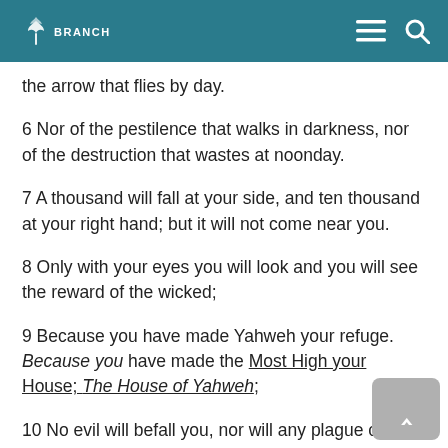BRANCH
the arrow that flies by day.
6 Nor of the pestilence that walks in darkness, nor of the destruction that wastes at noonday.
7 A thousand will fall at your side, and ten thousand at your right hand; but it will not come near you.
8 Only with your eyes you will look and you will see the reward of the wicked;
9 Because you have made Yahweh your refuge. Because you have made the Most High your House; The House of Yahweh;
10 No evil will befall you, nor will any plague come near your dwelling.